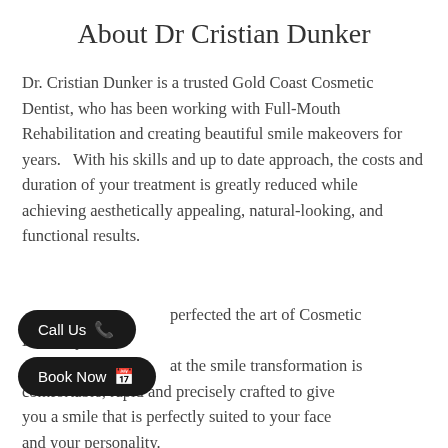About Dr Cristian Dunker
Dr. Cristian Dunker is a trusted Gold Coast Cosmetic Dentist, who has been working with Full-Mouth Rehabilitation and creating beautiful smile makeovers for years.   With his skills and up to date approach, the costs and duration of your treatment is greatly reduced while achieving aesthetically appealing, natural-looking, and functional results.
…perfected the art of Cosmetic Dentistry to ensure that the smile transformation is comfortable, rapid and precisely crafted to give you a smile that is perfectly suited to your face and your personality.